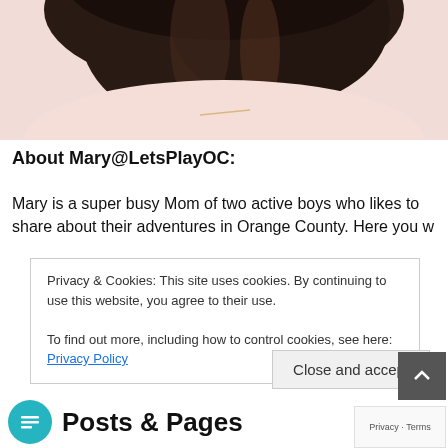[Figure (photo): Partial photo of a woman with dark hair wearing a light pink top, cropped at the top of the page]
About Mary@LetsPlayOC:
Mary is a super busy Mom of two active boys who likes to share about their adventures in Orange County. Here you will find family-oriented activities and…
Privacy & Cookies: This site uses cookies. By continuing to use this website, you agree to their use.
To find out more, including how to control cookies, see here: Privacy Policy
Close and accept
Posts & Pages